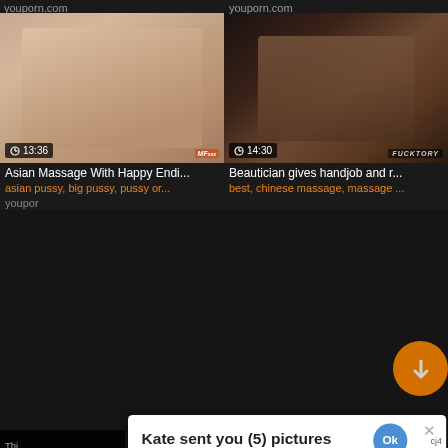youporn.com    youporn.com
[Figure (screenshot): Two adult video thumbnails side by side. Left thumbnail shows duration badge '13:36' and watermark 'MF...'. Right thumbnail shows duration badge '14:30' and watermark 'FUCKTORY'.]
Asian Massage With Happy Endi...
asian pussy, big pussy, pussy or...
Beautician gives handjob and r...
best, chinese massage, massage ...
[Figure (screenshot): A modal popup dialog with white background overlaying the page. Header: 'Kate sent you (5) pictures'. Subtext: 'Click OK to display the photo'. A small blue circular 'Ok' button top right, an X close button, and a large blue circular 'Ok' button in the center. Background shows partial page content and dark warning box on left, orange buttons on right.]
cj4